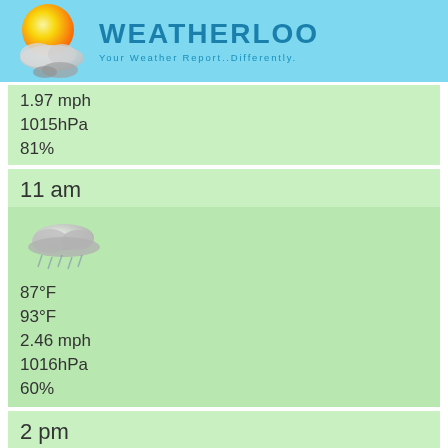WEATHERLOO — Your Weather Report..Differently.
1.97 mph
1015hPa
81%
11 am
[Figure (illustration): Weather icon showing rain/overcast cloud]
87°F
93°F
2.46 mph
1016hPa
60%
2 pm
[Figure (illustration): Weather icon showing rain/overcast cloud]